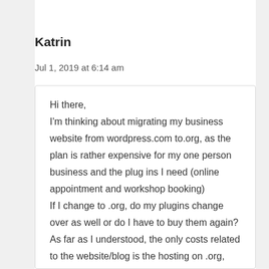Katrin
Jul 1, 2019 at 6:14 am
Hi there,
I'm thinking about migrating my business website from wordpress.com to.org, as the plan is rather expensive for my one person business and the plug ins I need (online appointment and workshop booking)
If I change to .org, do my plugins change over as well or do I have to buy them again?
As far as I understood, the only costs related to the website/blog is the hosting on .org, without a plan price?
(I always thought wordpress.org is only for companies, but that's not the case.)